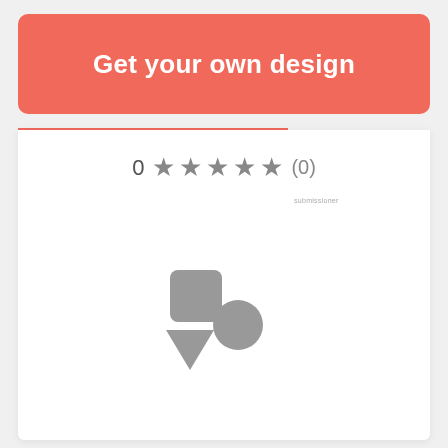Get your own design
0 ★★★★★ (0)
[Figure (illustration): Placeholder image showing three grey shapes: a rounded square, a circle, and a triangle arranged together]